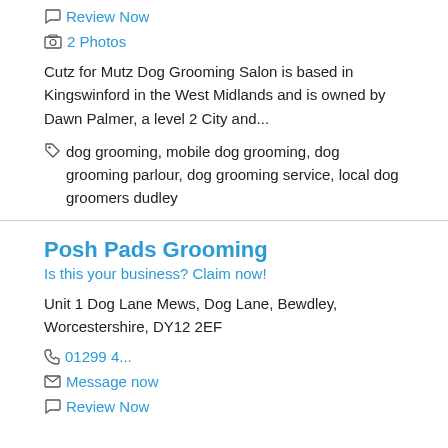Review Now
2 Photos
Cutz for Mutz Dog Grooming Salon is based in Kingswinford in the West Midlands and is owned by Dawn Palmer, a level 2 City and...
dog grooming, mobile dog grooming, dog grooming parlour, dog grooming service, local dog groomers dudley
Posh Pads Grooming
Is this your business? Claim now!
Unit 1 Dog Lane Mews, Dog Lane, Bewdley, Worcestershire, DY12 2EF
01299 4...
Message now
Review Now